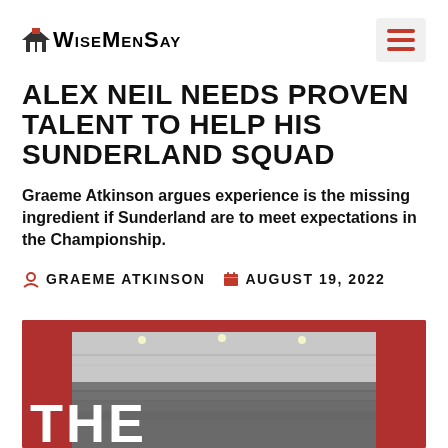WiseMenSay
ALEX NEIL NEEDS PROVEN TALENT TO HELP HIS SUNDERLAND SQUAD
Graeme Atkinson argues experience is the missing ingredient if Sunderland are to meet expectations in the Championship.
GRAEME ATKINSON   AUGUST 19, 2022
[Figure (photo): Stadium interior photo with red background overlay and bold white text 'THE' at bottom left]